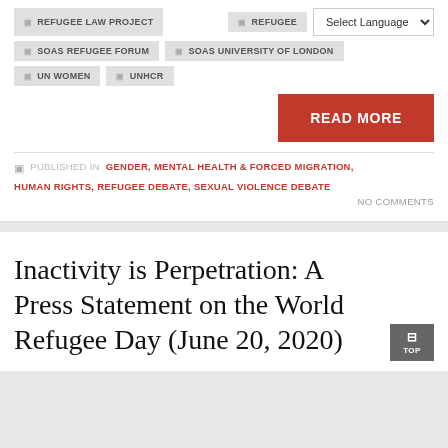REFUGEE LAW PROJECT
REFUGEE [Select Language dropdown]
SOAS REFUGEE FORUM
SOAS UNIVERSITY OF LONDON
UN WOMEN
UNHCR
READ MORE
PUBLISHED IN GENDER, MENTAL HEALTH & FORCED MIGRATION, HUMAN RIGHTS, REFUGEE DEBATE, SEXUAL VIOLENCE DEBATE
NO COMMENTS
Inactivity is Perpetration: A Press Statement on the World Refugee Day (June 20, 2020)